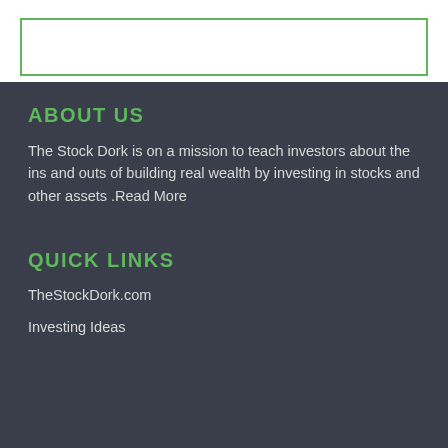[Figure (other): Green-bordered box at top of page (partial content above fold)]
ABOUT US
The Stock Dork is on a mission to teach investors about the ins and outs of building real wealth by investing in stocks and other assets .Read More
QUICK LINKS
TheStockDork.com
Investing Ideas